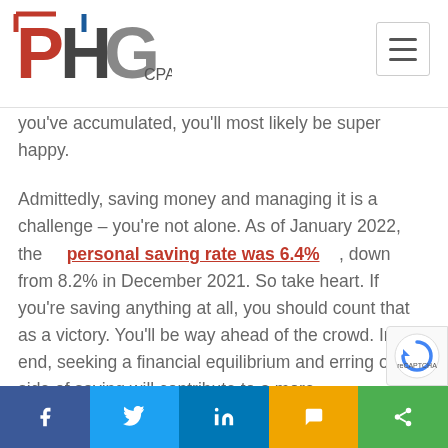PHG CPA's logo and navigation menu
you've accumulated, you'll most likely be super happy.
Admittedly, saving money and managing it is a challenge – you're not alone. As of January 2022, the personal saving rate was 6.4%, down from 8.2% in December 2021. So take heart. If you're saving anything at all, you should count that as a victory. You'll be way ahead of the crowd. In the end, seeking a financial equilibrium and erring on the side of saving will contribute to a more
Social share bar: Facebook, Twitter, LinkedIn, SMS, Share